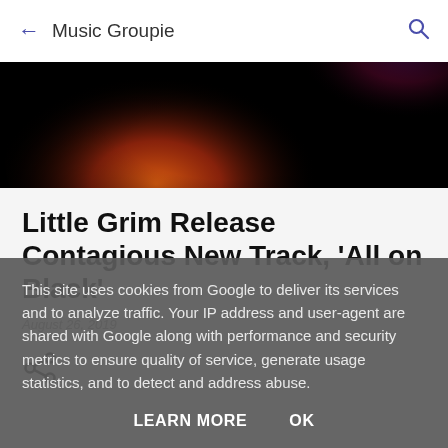← Music Groupie 🔍
[Figure (photo): Dark abstract hero image with orange, red, and purple gradient light burst against black background]
Little Grim Release Contagious New Track, 'All on Black'
August 26, 2019
This site uses cookies from Google to deliver its services and to analyze traffic. Your IP address and user-agent are shared with Google along with performance and security metrics to ensure quality of service, generate usage statistics, and to detect and address abuse.
LEARN MORE   OK